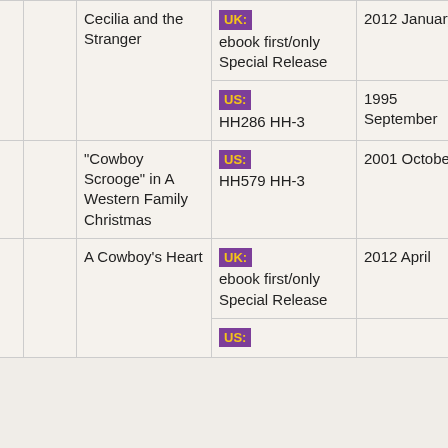|  |  | Title | Edition/Format | Date | ISBN |
| --- | --- | --- | --- | --- | --- |
|  |  | Cecilia and the Stranger | UK: ebook first/only Special Release | 2012 January | 9781408987865 / 978-1-4089-8786-5 |
|  |  | Cecilia and the Stranger | US: HH286 HH-3 | 1995 September | 0373288867 / 0-373-28886-7 |
|  |  | "Cowboy Scrooge" in A Western Family Christmas | US: HH579 HH-3 | 2001 October | 0373291795 / 0-373-29179-5 |
|  |  | A Cowboy's Heart | UK: ebook first/only Special Release | 2012 April | 9781408989371 / 978-1-4089-8937-1 |
|  |  | A Cowboy's Heart | US: |  |  |